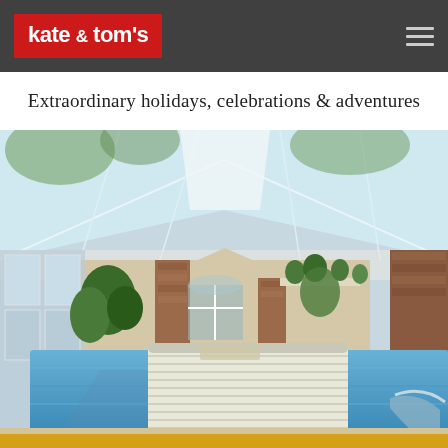kate & tom's
Extraordinary holidays, celebrations & adventures
[Figure (photo): Indoor swimming pool with a large glass conservatory roof, brick pillars, tropical plants, white lounge furniture, and a retractable pool cover partially extended over the blue pool water. Natural light floods through the glass ceiling and large windows at the far end.]